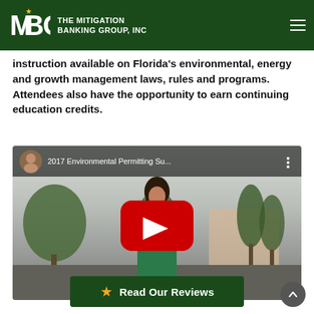THE MITIGATION BANKING GROUP, INC
instruction available on Florida's environmental, energy and growth management laws, rules and programs. Attendees also have the opportunity to earn continuing education credits.
[Figure (screenshot): YouTube video thumbnail for '2017 Environmental Permitting Su...' showing a woman in a green blouse standing outdoors with trees in the background, with a red YouTube play button overlay.]
[Figure (other): Read Our Reviews button with a gold star icon on a dark green background]